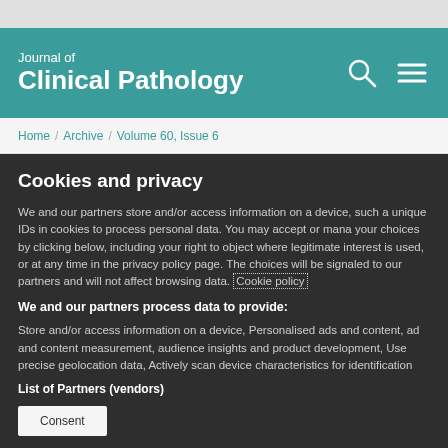Journal of Clinical Pathology
Home / Archive / Volume 60, Issue 6
Cookies and privacy
We and our partners store and/or access information on a device, such a unique IDs in cookies to process personal data. You may accept or mana your choices by clicking below, including your right to object where legitimate interest is used, or at any time in the privacy policy page. The choices will be signaled to our partners and will not affect browsing data. Cookie policy
We and our partners process data to provide:
Store and/or access information on a device, Personalised ads and content, ad and content measurement, audience insights and product development, Use precise geolocation data, Actively scan device characteristics for identification
List of Partners (vendors)